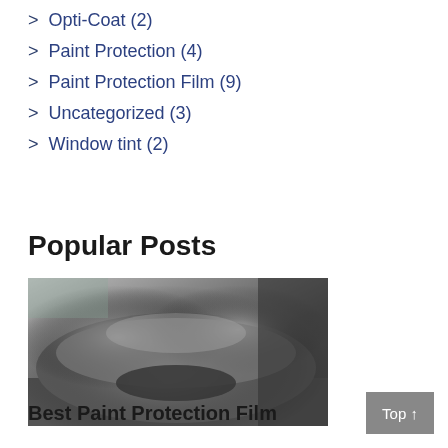> Opti-Coat (2)
> Paint Protection (4)
> Paint Protection Film (9)
> Uncategorized (3)
> Window tint (2)
Popular Posts
[Figure (photo): A black/dark grey Tesla car with paint protection film applied, viewed from the front, in a workshop or garage setting.]
Best Paint Protection Film